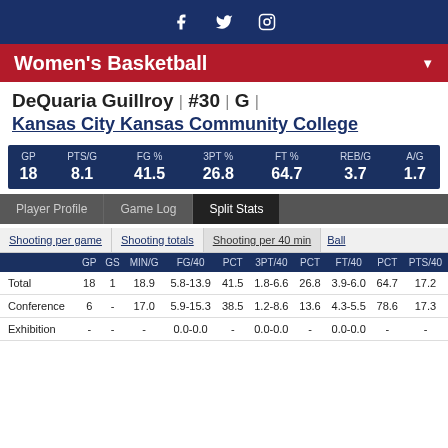Women's Basketball
DeQuaria Guillroy | #30 | G | Kansas City Kansas Community College
| GP | PTS/G | FG % | 3PT % | FT % | REB/G | A/G |
| --- | --- | --- | --- | --- | --- | --- |
| 18 | 8.1 | 41.5 | 26.8 | 64.7 | 3.7 | 1.7 |
Player Profile  Game Log  Split Stats
Shooting per game  Shooting totals  Shooting per 40 min  Ball
|  | GP | GS | MIN/G | FG/40 | PCT | 3PT/40 | PCT | FT/40 | PCT | PTS/40 |
| --- | --- | --- | --- | --- | --- | --- | --- | --- | --- | --- |
| Total | 18 | 1 | 18.9 | 5.8-13.9 | 41.5 | 1.8-6.6 | 26.8 | 3.9-6.0 | 64.7 | 17.2 |
| Conference | 6 | - | 17.0 | 5.9-15.3 | 38.5 | 1.2-8.6 | 13.6 | 4.3-5.5 | 78.6 | 17.3 |
| Exhibition | - | - | - | 0.0-0.0 | - | 0.0-0.0 | - | 0.0-0.0 | - | - |